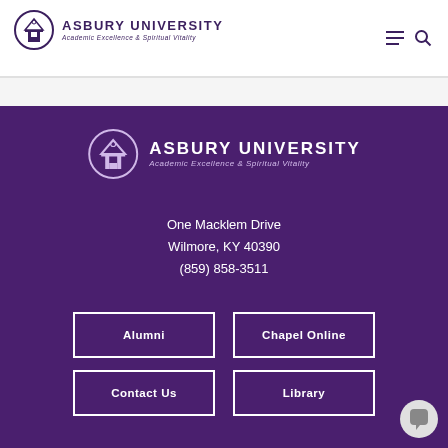[Figure (logo): Asbury University logo in header with building icon, name and tagline 'Academic Excellence & Spiritual Vitality']
[Figure (logo): Asbury University logo in footer (white) with building icon, name and tagline 'Academic Excellence & Spiritual Vitality']
One Macklem Drive
Wilmore, KY 40390
(859) 858-3511
Alumni
Chapel Online
Contact Us
Library